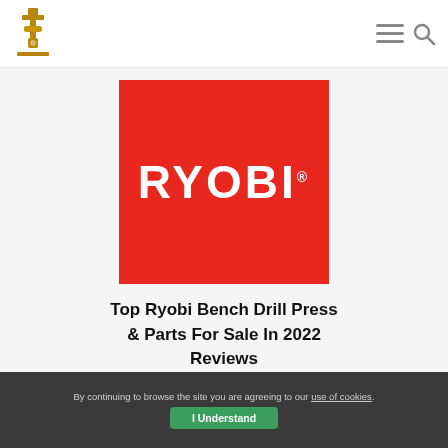Site navigation header with logo and menu/search icons
[Figure (logo): RYOBI brand logo on red square background with white RYOBI wordmark text]
Top Ryobi Bench Drill Press & Parts For Sale In 2022 Reviews
By continuing to browse the site you are agreeing to our use of cookies.